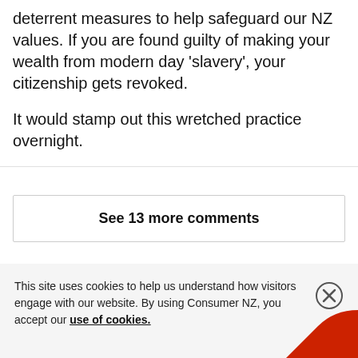deterrent measures to help safeguard our NZ values. If you are found guilty of making your wealth from modern day 'slavery', your citizenship gets revoked.

It would stamp out this wretched practice overnight.
See 13 more comments
This site uses cookies to help us understand how visitors engage with our website. By using Consumer NZ, you accept our use of cookies.